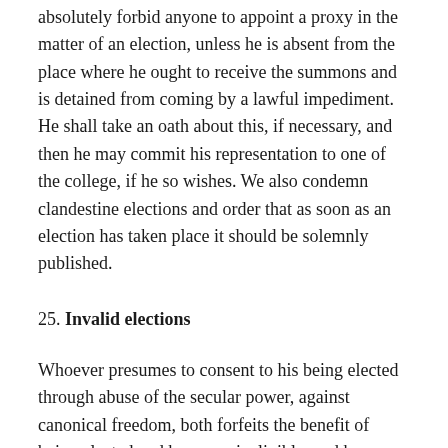absolutely forbid anyone to appoint a proxy in the matter of an election, unless he is absent from the place where he ought to receive the summons and is detained from coming by a lawful impediment. He shall take an oath about this, if necessary, and then he may commit his representation to one of the college, if he so wishes. We also condemn clandestine elections and order that as soon as an election has taken place it should be solemnly published.
25. Invalid elections
Whoever presumes to consent to his being elected through abuse of the secular power, against canonical freedom, both forfeits the benefit of being elected and becomes ineligible, and he cannot be elected to any dignity without a dispensation. Those who venture to take part in elections of this kind, which we declare to be